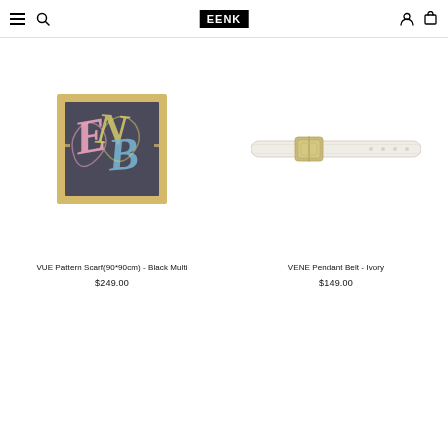EENK — navigation bar with hamburger, search, logo, user and cart icons
[Figure (photo): VUE Pattern Scarf (90*90cm) - Black Multi: square scarf with dark grey background and colorful (pink, yellow, blue) cursive letter pattern EENB, gold border]
VUE Pattern Scarf(90*90cm) - Black Multi
$249.00
[Figure (photo): VENE Pendant Belt - Ivory: thin white/ivory leather belt with small gold rectangular buckle]
VENE Pendant Belt - Ivory
$149.00